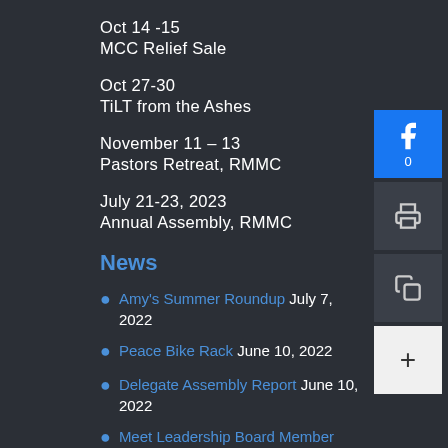Oct 14 -15
MCC Relief Sale
Oct 27-30
TiLT from the Ashes
November 11 – 13
Pastors Retreat, RMMC
July 21-23, 2023
Annual Assembly, RMMC
News
Amy's Summer Roundup July 7, 2022
Peace Bike Rack June 10, 2022
Delegate Assembly Report June 10, 2022
Meet Leadership Board Member Wilmer Villacorta June 10, 2022